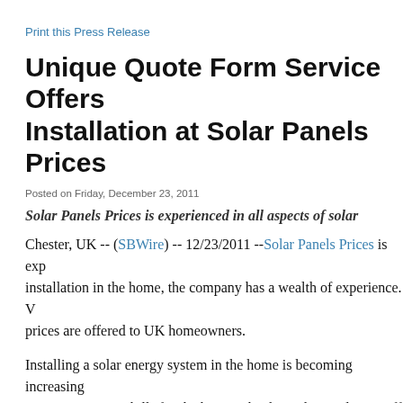Print this Press Release
Unique Quote Form Service Offers Installation at Solar Panels Prices
Posted on Friday, December 23, 2011
Solar Panels Prices is experienced in all aspects of solar
Chester, UK -- (SBWire) -- 12/23/2011 --Solar Panels Prices is experienced in installation in the home, the company has a wealth of experience. prices are offered to UK homeowners.
Installing a solar energy system in the home is becoming increasingly increasing energy bills for the home. Thanks to the Feed-In Tariff the electricity generated through their solar panels through payments
Solar Panels Prices advises its customers that solar panels are easy For customers looking to reduce their carbon footprint and save mo
At Solar Panels Prices up to 75% off initial installation is offered t